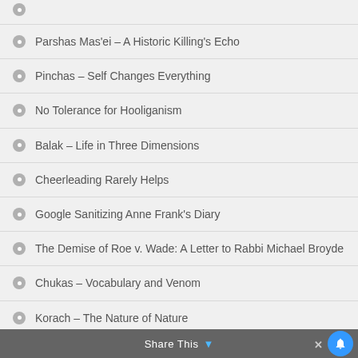Parshas Mas'ei – A Historic Killing's Echo
Pinchas – Self Changes Everything
No Tolerance for Hooliganism
Balak – Life in Three Dimensions
Cheerleading Rarely Helps
Google Sanitizing Anne Frank's Diary
The Demise of Roe v. Wade: A Letter to Rabbi Michael Broyde
Chukas – Vocabulary and Venom
Korach – The Nature of Nature
Share This